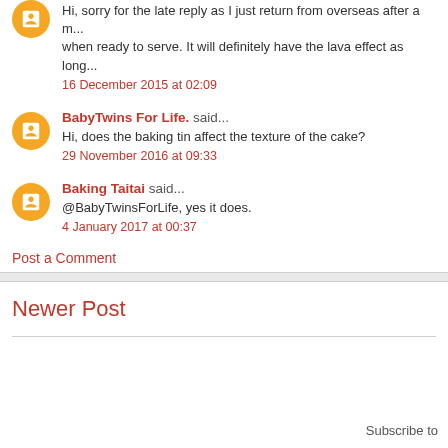Hi, sorry for the late reply as I just return from overseas after a m... when ready to serve. It will definitely have the lava effect as long...
16 December 2015 at 02:09
BabyTwins For Life. said...
Hi, does the baking tin affect the texture of the cake?
29 November 2016 at 09:33
Baking Taitai said...
@BabyTwinsForLife, yes it does.
4 January 2017 at 00:37
Post a Comment
Newer Post
Subscribe to